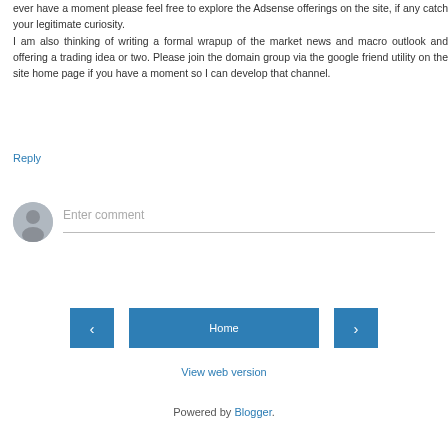ever have a moment please feel free to explore the Adsense offerings on the site, if any catch your legitimate curiosity.
I am also thinking of writing a formal wrapup of the market news and macro outlook and offering a trading idea or two. Please join the domain group via the google friend utility on the site home page if you have a moment so I can develop that channel.
Reply
[Figure (other): User avatar placeholder icon — grey circle with silhouette]
Enter comment
‹    Home    ›
View web version
Powered by Blogger.